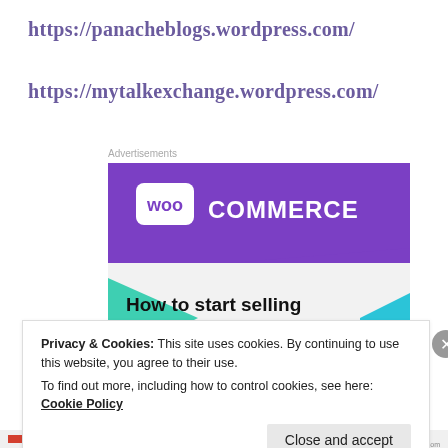https://panacheblogs.wordpress.com/
https://mytalkexchange.wordpress.com/
Advertisements
[Figure (screenshot): WooCommerce advertisement banner showing purple background with WooCommerce logo (woo in speech bubble, COMMERCE in white text), teal triangular shapes, light gray background, and text 'How to start selling subscriptions online']
Privacy & Cookies: This site uses cookies. By continuing to use this website, you agree to their use.
To find out more, including how to control cookies, see here: Cookie Policy
Close and accept